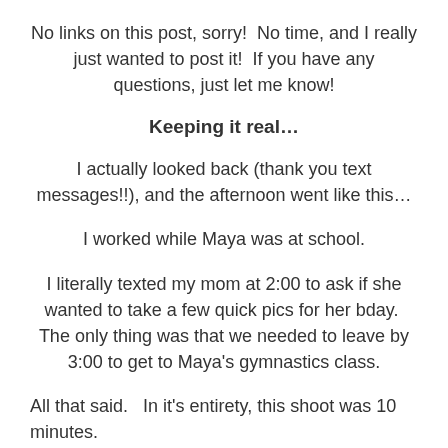No links on this post, sorry!  No time, and I really just wanted to post it!  If you have any questions, just let me know!
Keeping it real…
I actually looked back (thank you text messages!!), and the afternoon went like this…
I worked while Maya was at school.
I literally texted my mom at 2:00 to ask if she wanted to take a few quick pics for her bday.  The only thing was that we needed to leave by 3:00 to get to Maya's gymnastics class.
All that said.   In it's entirety, this shoot was 10 minutes.